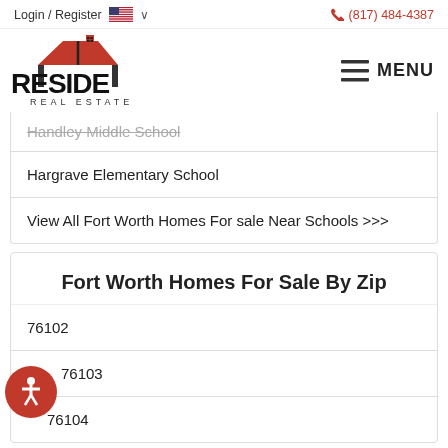Login / Register   🇺🇸 ∨     (817) 484-4387
[Figure (logo): Reside Real Estate logo with red roof icon and RESIDE text]
MENU
Handley Middle School
Hargrave Elementary School
View All Fort Worth Homes For sale Near Schools >>>
Fort Worth Homes For Sale By Zip
76102
76103
76104